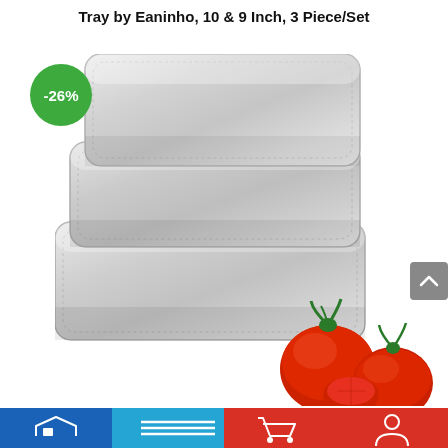Tray by Eaninho, 10 & 9 Inch, 3 Piece/Set
[Figure (photo): Three stacked stainless steel baking trays/sheet pans with beaded edges, shown in a cascading stack from front to back. A green circular badge showing '-26%' discount is overlaid on the upper-left area. Tomatoes are visible at the bottom right corner.]
[Figure (screenshot): Bottom navigation bar with four segments: blue home icon, light blue search/menu icon, red cart icon, red person/account icon.]